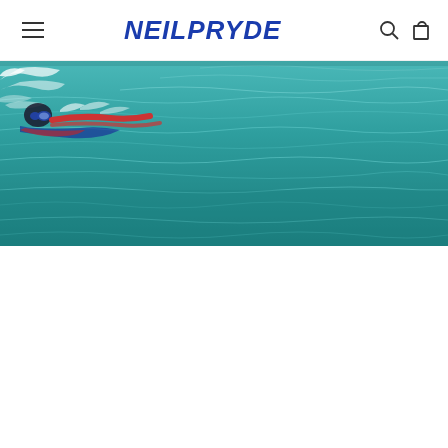NEILPRYDE — navigation header with hamburger menu, logo, search and cart icons
[Figure (photo): Wide-angle action photo of a person swimming/windsurfing in turquoise-green water with splashing waves, seen from close to the water surface]